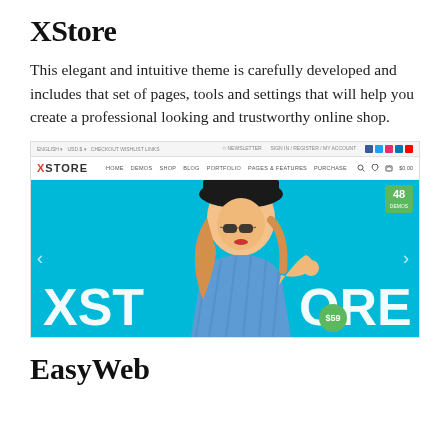XStore
This elegant and intuitive theme is carefully developed and includes that set of pages, tools and settings that will help you create a professional looking and trustworthy online shop.
[Figure (screenshot): Screenshot of the XStore WordPress theme showing a navigation bar with XSTORE logo in red/black, menu items (HOME, DEMOS, SHOP, BLOG, PORTFOLIO, PAGES & FEATURES, PURCHASE), and a hero banner with a blonde woman wearing a black hat and sunglasses against a cyan/blue background with large white 'XSTORE' text, a green badge showing '48' in top right, and a green circle badge showing '$59' at bottom right.]
EasyWeb